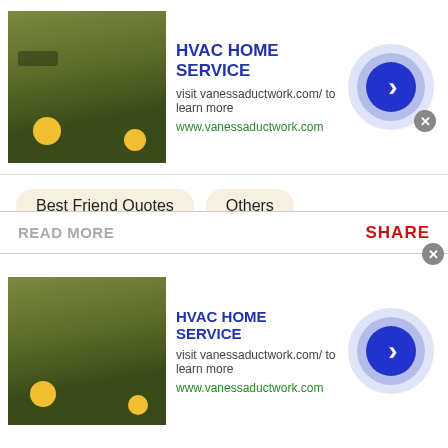[Figure (screenshot): Top ad banner: HVAC HOME SERVICE with garden image and blue arrow button]
Best Friend Quotes   Others
meet some friends
this is for u to meet some friends so don't sit down well sit down and get some friends so u don't get lonely have...
READ MORE   SHARE
[Figure (screenshot): Bottom ad banner: HVAC HOME SERVICE with garden image and blue arrow button]